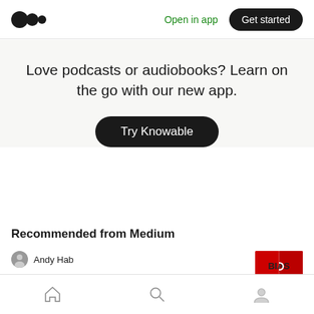Medium logo | Open in app | Get started
Love podcasts or audiobooks? Learn on the go with our new app.
Try Knowable
Recommended from Medium
Andy Hab
Andy's Quick Hits (3): The Simplest Way to
Home | Search | Profile